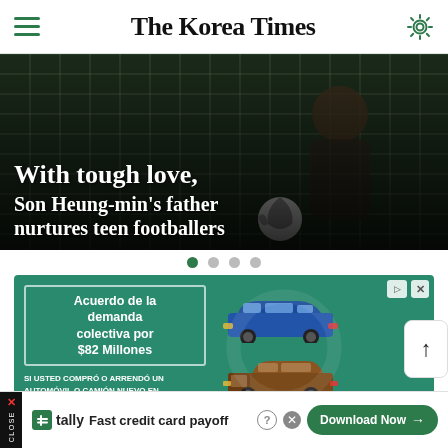The Korea Times
[Figure (photo): Hero image showing a soccer player near a goal net with a soccer ball. Overlaid text reads: With tough love, Son Heung-min's father nurtures teen footballers]
With tough love, Son Heung-min's father nurtures teen footballers
[Figure (other): Carousel navigation dots — 4 dots, first one green (active), others grey]
[Figure (other): Advertisement banner in teal/green color: 'Acuerdo de la demanda colectiva por $82 Millones' with two cars (blue sedan, brown truck). Text: SI USTED COMPRÓ O ARRENDÓ UN AUTOMÓVIL O CAMIÓN NUEVO EN CALIFORNIA DESDE 2001 A 2003]
[Figure (other): Bottom advertisement bar: Tally app ad — 'Fast credit card payoff' with Download Now button. Includes X/CLOSE strip on left.]